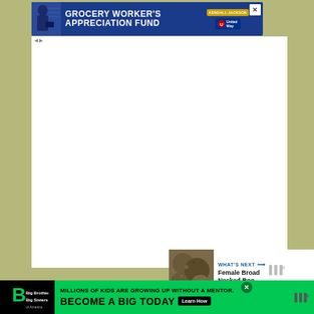[Figure (other): Advertisement banner for Grocery Worker's Appreciation Fund, sponsored by Kendall Jackson and United Way, showing a grocery worker at a register]
1
[Figure (other): Heart/like button (blue circle with heart icon), count badge showing '1', and share button (white circle with share icon)]
[Figure (other): WHAT'S NEXT panel showing thumbnail and text 'Female Broad Necked Roo...']
[Figure (other): Advertisement banner: Big Brothers Big Sisters - MILLIONS OF KIDS ARE GROWING UP WITHOUT A MENTOR. BECOME A BIG TODAY with Learn How button]